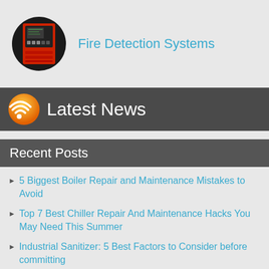[Figure (logo): Fire detection system control panel in a circular black logo badge]
Fire Detection Systems
Latest News
Recent Posts
5 Biggest Boiler Repair and Maintenance Mistakes to Avoid
Top 7 Best Chiller Repair And Maintenance Hacks You May Need This Summer
Industrial Sanitizer: 5 Best Factors to Consider before committing
Industrial HVAC Services: 10 Best Services Your